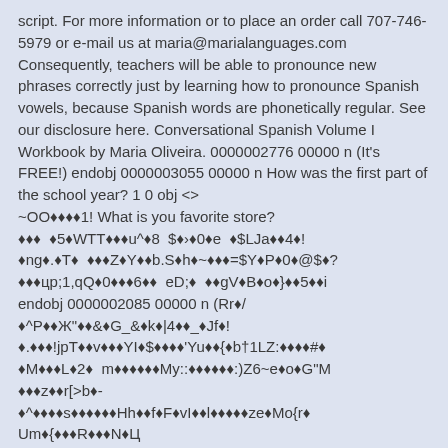script. For more information or to place an order call 707-746-5979 or e-mail us at maria@marialanguages.com Consequently, teachers will be able to pronounce new phrases correctly just by learning how to pronounce Spanish vowels, because Spanish words are phonetically regular. See our disclosure here. Conversational Spanish Volume I Workbook by Maria Oliveira. 0000002776 00000 n (It's FREE!) endobj 0000003055 00000 n How was the first part of the school year? 1 0 obj <> ~OO◆◆◆◆1! What is you favorite store? ◆◆◆  ◆5◆WTT◆◆◆u^◆8  $◆›◆0◆e  ◆$LJa◆◆4◆! ◆ng◆.◆T◆  ◆◆◆Z◆Y◆◆b.S◆h◆~◆◆◆=$Y◆P◆0◆@$◆? ◆◆◆ср;1,qQ◆0◆◆◆6◆◆  eD;◆  ◆◆gV◆B◆o◆}◆◆5◆◆i endobj 0000002085 00000 n (Rr◆/ ◆^P◆◆Ж"◆◆&◆G_&◆k◆|4◆◆_◆Jf◆! ◆.◆◆◆!jpT◆◆v◆◆◆YI◆$◆◆◆◆'Yu◆◆{◆b†1LZ:◆◆◆◆#◆ ◆M◆◆◆L◆2◆  m◆◆◆◆◆◆My::◆◆◆◆◆◆:)Z6~e◆o◆G"M ◆◆◆z◆◆r[>b◆- ◆^◆◆◆◆s◆◆◆◆◆◆Hh◆◆f◆F◆vI◆◆l◆◆◆◆◆ze◆Mo{r◆ Um◆{◆◆◆R◆◆◆N◆Ц